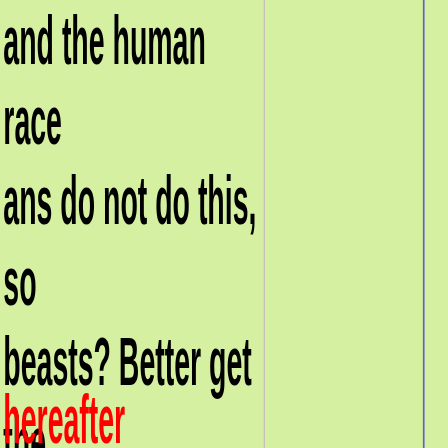and the human race ans do not do this, so beasts? Better get the e homosexuality is y comes out, so both ting that is apparent, rmful Sharia, even if it in it
hereafter